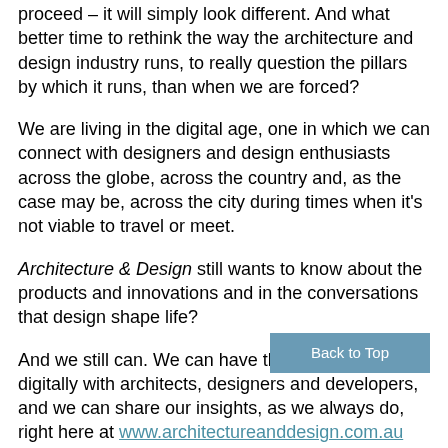proceed – it will simply look different. And what better time to rethink the way the architecture and design industry runs, to really question the pillars by which it runs, than when we are forced?
We are living in the digital age, one in which we can connect with designers and design enthusiasts across the globe, across the country and, as the case may be, across the city during times when it's not viable to travel or meet.
Architecture & Design still wants to know about the products and innovations and in the conversations that design shape life?
And we still can. We can have these conversations digitally with architects, designers and developers, and we can share our insights, as we always do, right here at www.architectureanddesign.com.au